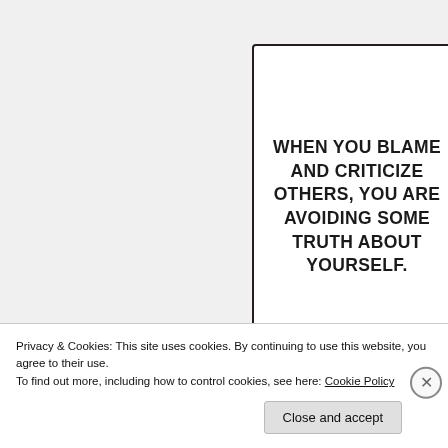[Figure (illustration): A quote card with dark border on white background. Large bold uppercase text reads: WHEN YOU BLAME AND CRITICIZE OTHERS, YOU ARE AVOIDING SOME TRUTH ABOUT YOURSELF. Footer shows social media icons and Quotling.com branding.]
Privacy & Cookies: This site uses cookies. By continuing to use this website, you agree to their use.
To find out more, including how to control cookies, see here: Cookie Policy
Close and accept